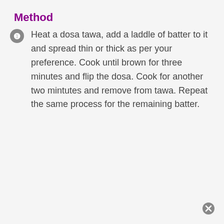Method
Heat a dosa tawa, add a laddle of batter to it and spread thin or thick as per your preference. Cook until brown for three minutes and flip the dosa. Cook for another two mintutes and remove from tawa. Repeat the same process for the remaining batter.